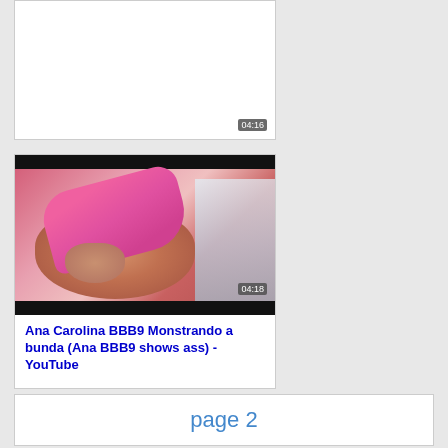[Figure (screenshot): Partial video thumbnail card showing timestamp 04:16 in bottom right corner, white background card]
[Figure (screenshot): Video thumbnail showing a person in a pink bikini bottom, with timestamp 04:18 in bottom right corner]
Ana Carolina BBB9 Monstrando a bunda (Ana BBB9 shows ass) - YouTube
page 2